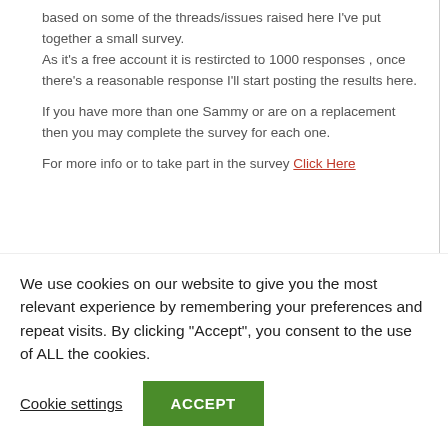based on some of the threads/issues raised here I've put together a small survey.
As it's a free account it is restircted to 1000 responses , once there's a reasonable response I'll start posting the results here.

If you have more than one Sammy or are on a replacement then you may complete the survey for each one.

For more info or to take part in the survey Click Here
December 17, 2008 at 2:57 pm    #176012
We use cookies on our website to give you the most relevant experience by remembering your preferences and repeat visits. By clicking "Accept", you consent to the use of ALL the cookies.
Cookie settings
ACCEPT